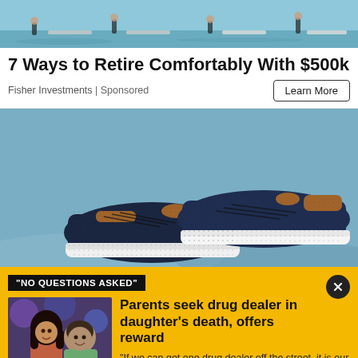[Figure (illustration): Top banner ad image showing people paddleboarding on water, illustration style]
7 Ways to Retire Comfortably With $500k
Fisher Investments | Sponsored
[Figure (photo): Product photo of dark navy blue sneakers/casual shoes with brown leather accent and white sole on a grey-blue sandy background]
"NO QUESTIONS ASKED"
Parents seek drug dealer in daughter's death, offers reward
[Figure (photo): Thumbnail photo of a young woman and a man smiling, appearing to be at an event]
"If we can get one drug dealer off the street, it is our hope that we can save one life."